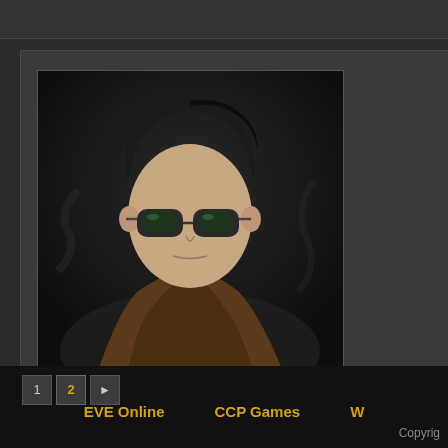double to cover the increased prices.
#20 - 2017-07-29 15:39:06 UTC
[Figure (illustration): Forum user avatar showing an animated character with short dark hair wearing sunglasses and a brown jacket]
ImYourMom
Retribution Holdings Corp
Retribution.
Likes received: 140
Bjorn Tyrson wrote: So kinda like the old system whe... saw plex prices between 1200-14... 600m per month again.
ermm get it right PLEX was STILL USE
1  2  ▶
EVE Online   CCP Games   W   Copyrig